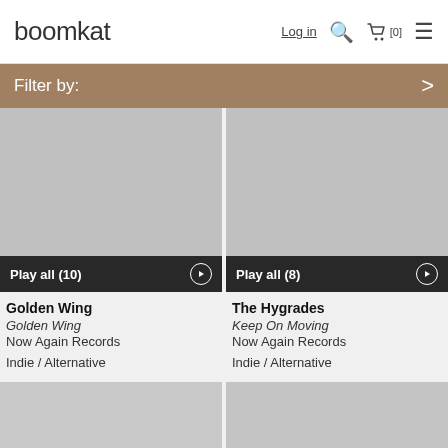boomkat  Log in  [0]
Filter by:
[Figure (photo): Album art placeholder grey square for Golden Wing]
Play all (10)
Golden Wing
Golden Wing
Now Again Records
Indie / Alternative
[Figure (photo): Album art placeholder grey square for The Hygrades]
Play all (8)
The Hygrades
Keep On Moving
Now Again Records
Indie / Alternative
[Figure (photo): Album art placeholder grey square bottom left]
[Figure (photo): Album art placeholder grey square bottom right]